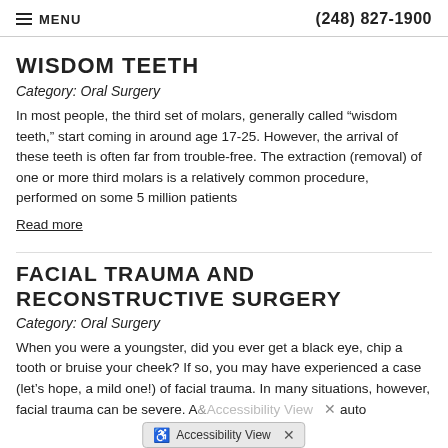MENU   (248) 827-1900
WISDOM TEETH
Category: Oral Surgery
In most people, the third set of molars, generally called “wisdom teeth,” start coming in around age 17-25. However, the arrival of these teeth is often far from trouble-free. The extraction (removal) of one or more third molars is a relatively common procedure, performed on some 5 million patients
Read more
FACIAL TRAUMA AND RECONSTRUCTIVE SURGERY
Category: Oral Surgery
When you were a youngster, did you ever get a black eye, chip a tooth or bruise your cheek? If so, you may have experienced a case (let’s hope, a mild one!) of facial trauma. In many situations, however, facial trauma can be severe. A... auto